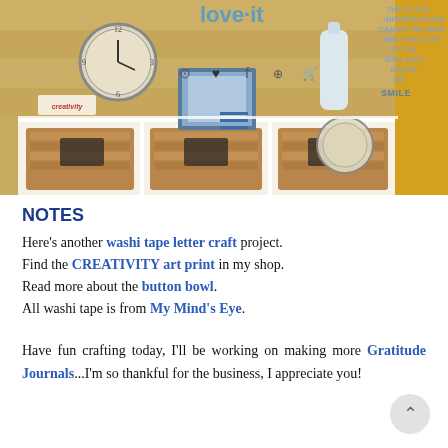[Figure (photo): A decorated shelf/cubby organizer with a wall clock, wicker baskets, a framed photo, a decorative bottle, a compass/clock, and craft items. Social media icons (Instagram, heart, Facebook, Pinterest, shopping bag) visible. 'love it' text and hamburger menu icon overlaid. Quote text on upper right reads 'THE LITTLE IMPERFECTIONS CANNOT BE SEEN AND THIS CUTE LITTLE SIGN JUST MAKES ME SMILE'.]
NOTES
Here's another washi tape letter craft project. Find the CREATIVITY art print in my shop. Read more about the button bowl. All washi tape is from My Mind's Eye.
Have fun crafting today, I'll be working on making more Gratitude Journals...I'm so thankful for the business, I appreciate you!